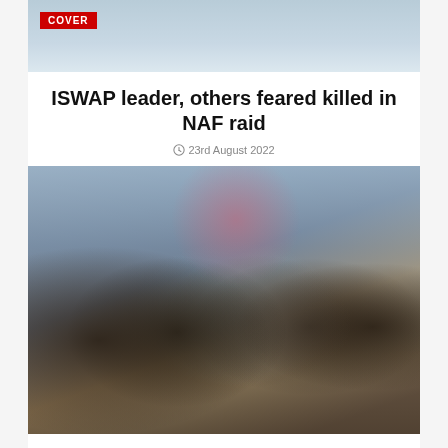[Figure (photo): Top portion of a group photo showing people in formal/business attire, used as decorative cover image element with a 'COVER' badge overlay]
ISWAP leader, others feared killed in NAF raid
23rd August 2022
[Figure (photo): Group photo of five people dressed in formal business suits, with a woman in a blue dress in the center, posing together at what appears to be a formal event or conference. Additional people visible in the background.]